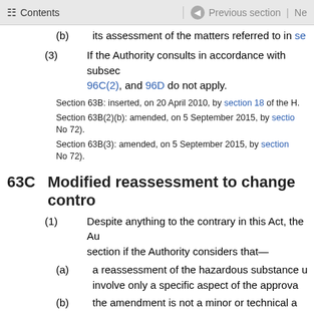Contents | Previous section | Ne
(b)    its assessment of the matters referred to in se
(3)    If the Authority consults in accordance with subsec 96C(2), and 96D do not apply.
Section 63B: inserted, on 20 April 2010, by section 18 of the H.
Section 63B(2)(b): amended, on 5 September 2015, by section No 72).
Section 63B(3): amended, on 5 September 2015, by section No 72).
63C  Modified reassessment to change contro
(1)    Despite anything to the contrary in this Act, the Au section if the Authority considers that—
(a)    a reassessment of the hazardous substance u involve only a specific aspect of the approva
(b)    the amendment is not a minor or technical a
(c)    the reassessment is necessary because of a c EPA controls, or controls under the Health a
(2)    A reassessment under this section—